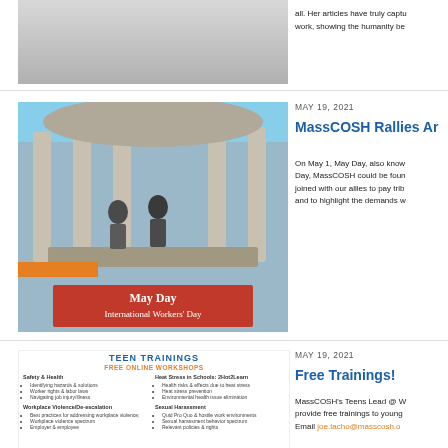[Figure (photo): Partial top image of a book or document page]
all. Her articles have truly captured work, showing the humanity be
[Figure (photo): Photo of a stage at a May Day International Workers Day event with people speaking under a colonnade, orange banners visible]
MAY 19, 2021
MassCOSH Rallies Ar
On May 1, May Day, also know Day, MassCOSH could be foun joined with our allies to pay trib and to highlight the demands w
[Figure (infographic): Free Trainings flyer showing FREE ONLINE WORKSHOPS with topics including Safety & Health, Heat Stress in Schools, Workplace Violence/De-escalation, and Sexual Harassment]
MAY 19, 2021
Free Trainings!
MassCOSH's Teens Lead @ W provide free trainings to young Email joe.tacho@masscosh.o